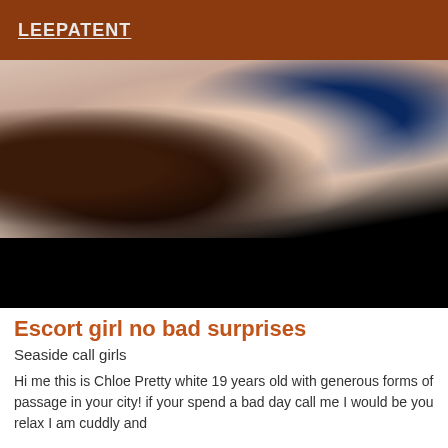LEEPATENT
[Figure (photo): Photo showing items on a bed including a dark bottle, blue box, Chips Ahoy cookie package, plastic bags, and small photo strips on a pinkish bedsheet background with a black lower portion]
Escort girl no bad surprises
Seaside call girls
Hi me this is Chloe Pretty white 19 years old with generous forms of passage in your city! if your spend a bad day call me I would be you relax I am cuddly and